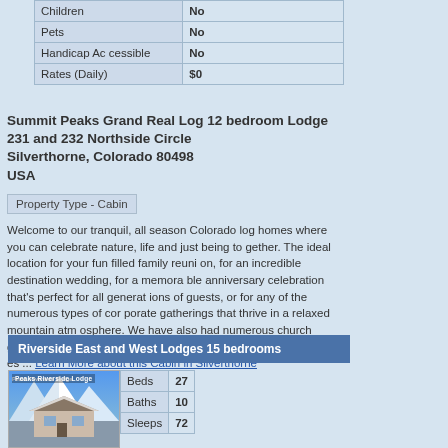|  |  |
| --- | --- |
| Children | No |
| Pets | No |
| Handicap Accessible | No |
| Rates (Daily) | $0 |
Summit Peaks Grand Real Log 12 bedroom Lodge
231 and 232 Northside Circle
Silverthorne, Colorado 80498
USA
Property Type - Cabin
Welcome to our tranquil, all season Colorado log homes where you can celebrate nature, life and just being together. The ideal location for your fun filled family reunion, for an incredible destination wedding, for a memorable anniversary celebration that's perfect for all generations of guests, or for any of the numerous types of corporate gatherings that thrive in a relaxed mountain atmosphere. We have also had numerous church groups of adults and youngsters alike that just loved the wilderness ... Learn More about this Cabin in Silverthorne
Riverside East and West Lodges 15 bedrooms
[Figure (photo): Photo of Peaks Riverside Lodge showing a mountain lodge with snow-capped peaks in background]
|  |  |
| --- | --- |
| Beds | 27 |
| Baths | 10 |
| Sleeps | 72 |